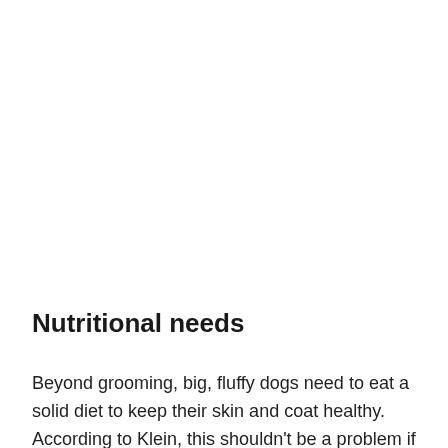Nutritional needs
Beyond grooming, big, fluffy dogs need to eat a solid diet to keep their skin and coat healthy. According to Klein, this shouldn't be a problem if you give your dog